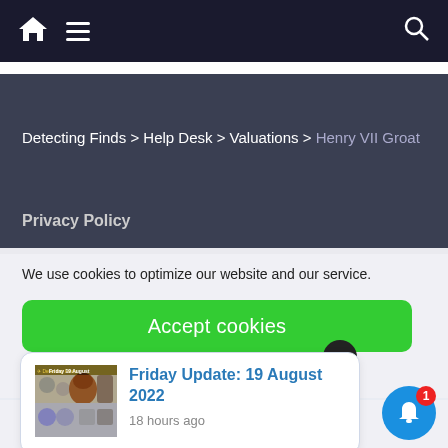Navigation bar with home icon, hamburger menu, and search icon
Detecting Finds > Help Desk > Valuations > Henry VII Groat
Privacy Policy
We use cookies to optimize our website and our service.
Accept cookies
[Figure (screenshot): Notification card thumbnail showing Friday 19 August header image with coins and figurines]
Friday Update: 19 August 2022
18 hours ago